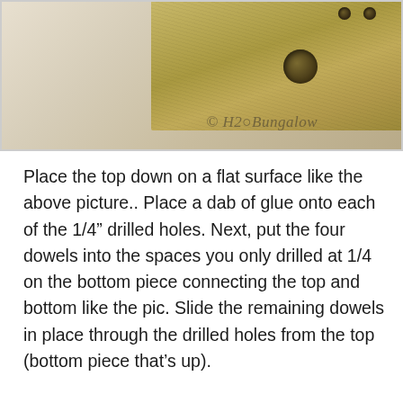[Figure (photo): A wooden board or block with drilled holes placed on a flat light surface. The board shows a large circular hole and smaller holes. A watermark reads © H2OBungalow in cursive script.]
Place the top down on a flat surface like the above picture.. Place a dab of glue onto each of the 1/4" drilled holes. Next, put the four dowels into the spaces you only drilled at 1/4 on the bottom piece connecting the top and bottom like the pic. Slide the remaining dowels in place through the drilled holes from the top (bottom piece that's up).